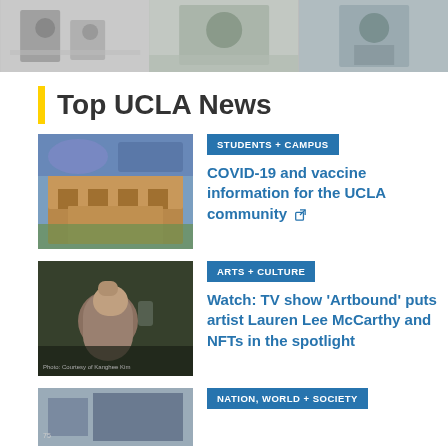[Figure (photo): Three photos side by side: a family with a child holding a certificate, a woman smiling outdoors, and a man in business casual holding something.]
Top UCLA News
[Figure (photo): Royce Hall at UCLA with a blue sky background.]
STUDENTS + CAMPUS
COVID-19 and vaccine information for the UCLA community
[Figure (photo): A person wearing a mask filming with a phone outdoors.]
ARTS + CULTURE
Watch: TV show 'Artbound' puts artist Lauren Lee McCarthy and NFTs in the spotlight
[Figure (photo): A partial thumbnail for a third news item.]
NATION, WORLD + SOCIETY